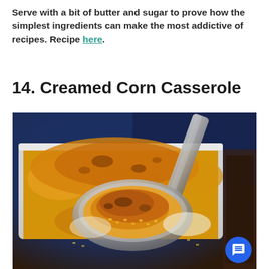Serve with a bit of butter and sugar to prove how the simplest ingredients can make the most addictive of recipes. Recipe here.
14. Creamed Corn Casserole
[Figure (photo): Close-up photo of a spoon scooping creamed corn casserole with golden-brown cheesy crust from a white baking dish, with a blue cloth napkin in the background. A blue chat button is visible in the bottom right corner.]